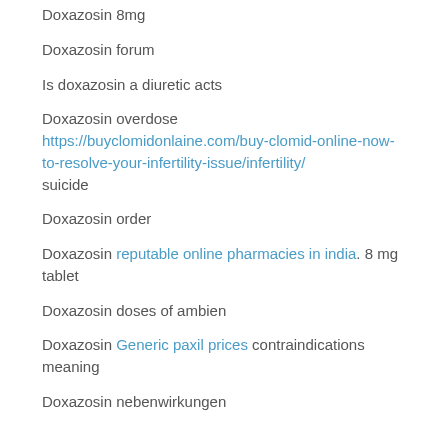Doxazosin 8mg
Doxazosin forum
Is doxazosin a diuretic acts
Doxazosin overdose https://buyclomidonlaine.com/buy-clomid-online-now-to-resolve-your-infertility-issue/infertility/ suicide
Doxazosin order
Doxazosin reputable online pharmacies in india. 8 mg tablet
Doxazosin doses of ambien
Doxazosin Generic paxil prices contraindications meaning
Doxazosin nebenwirkungen